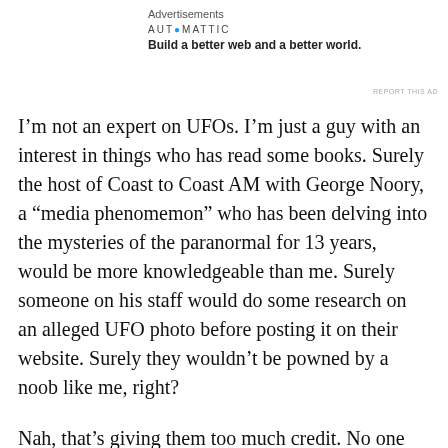Advertisements
[Figure (logo): Automattic logo with tagline: Build a better web and a better world.]
REPORT THIS AS
I’m not an expert on UFOs. I’m just a guy with an interest in things who has read some books. Surely the host of Coast to Coast AM with George Noory, a “media phenomemon” who has been delving into the mysteries of the paranormal for 13 years, would be more knowledgeable than me. Surely someone on his staff would do some research on an alleged UFO photo before posting it on their website. Surely they wouldn’t be powned by a noob like me, right?
Nah, that’s giving them too much credit. No one checks anything. No one bothers. They put anything out there no matter how fake or stupid. (And you should really see